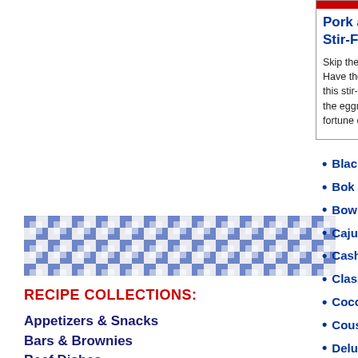[Figure (illustration): Blue and white gingham/checkered fabric pattern banner]
RECIPE COLLECTIONS:
Appetizers & Snacks
Bars & Brownies
Beef Dishes
Beverages
Breads
Breakfast Dishes
Cakes & Frostings
Candies
Pork and B Stir-Fry
Skip the take o Have the fami this stir-fry. D the eggrolls, h fortune cooki
Black
Bok C
Bow T
Cajun
Cashe
Classi
Cocon
Cousi
Delux
Dixie
Ginge